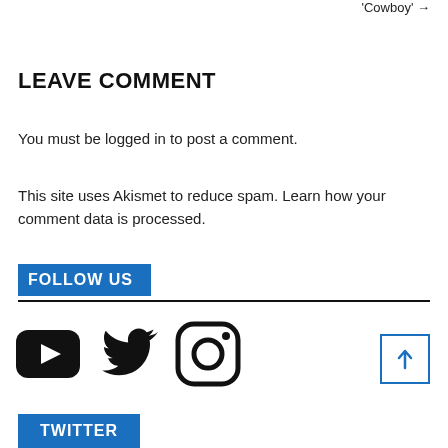'Cowboy' →
LEAVE COMMENT
You must be logged in to post a comment.
This site uses Akismet to reduce spam. Learn how your comment data is processed.
FOLLOW US
[Figure (illustration): Social media icons: YouTube play button, Twitter bird, Instagram camera outline]
TWITTER